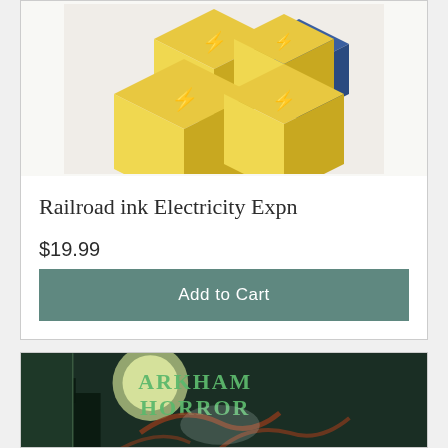[Figure (photo): Yellow dice with blue lightning bolt symbols, stacked in a pile on a light background]
Railroad ink Electricity Expn
$19.99
Add to Cart
[Figure (photo): Arkham Horror board game box art featuring tentacled creature and investigators against a moonlit backdrop with the title ARKHAM HORROR]